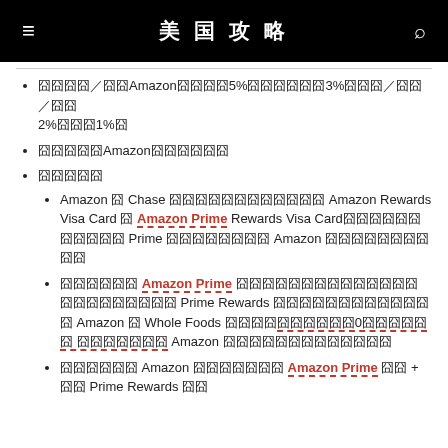美国攻略
囧囧囧囧／囧囧Amazon囧囧囧囧5%囧囧囧囧囧囧3%囧囧囧／囧囧／囧囧2%囧囧囧1%囧
囧囧囧囧囧Amazon囧囧囧囧囧囧
囧囧囧囧囧
Amazon 囧 Chase 囧囧囧囧囧囧囧囧囧囧囧囧 Amazon Rewards Visa Card 囧 Amazon Prime Rewards Visa Card囧囧囧囧囧囧囧囧囧囧囧 Prime 囧囧囧囧囧囧囧囧 Amazon 囧囧囧囧囧囧囧囧囧囧
囧囧囧囧囧囧 Amazon Prime 囧囧囧囧囧囧囧囧囧囧囧囧囧囧囧囧囧囧囧囧囧囧 Prime Rewards 囧囧囧囧囧囧囧囧囧囧囧囧囧 Amazon 囧 Whole Foods 囧囧囧囧囧囧囧囧囧囧囧0囧囧囧囧囧囧囧囧囧囧囧囧囧 Amazon 囧囧囧囧囧囧囧囧囧囧囧囧囧
囧囧囧囧囧囧 Amazon 囧囧囧囧囧囧囧 Amazon Prime 囧囧 + 囧囧 Prime Rewards 囧囧